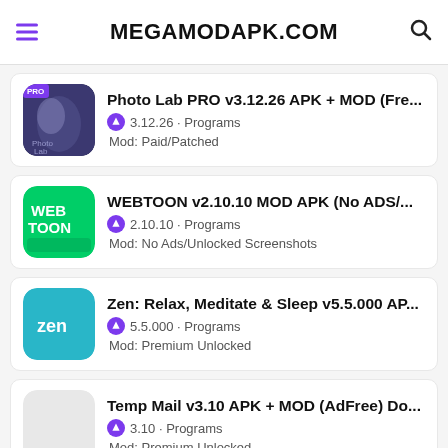MEGAMODAPK.COM
Photo Lab PRO v3.12.26 APK + MOD (Fre...
3.12.26 · Programs
Mod: Paid/Patched
WEBTOON v2.10.10 MOD APK (No ADS/...
2.10.10 · Programs
Mod: No Ads/Unlocked Screenshots
Zen: Relax, Meditate & Sleep v5.5.000 AP...
5.5.000 · Programs
Mod: Premium Unlocked
Temp Mail v3.10 APK + MOD (AdFree) Do...
3.10 · Programs
Mod: Premium Unlocked